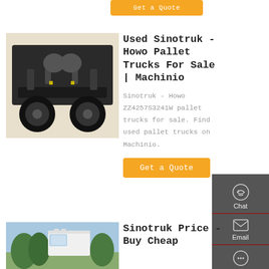[Figure (screenshot): Orange 'Get a Quote' button at top of page]
[Figure (photo): Undercarriage/chassis view of a Sinotruk-Howo truck from below]
Used Sinotruk - Howo Pallet Trucks For Sale | Machinio
Sinotruk - Howo ZZ4257S3241W pallet trucks for sale. Find used pallet trucks on Machinio.
[Figure (screenshot): Orange 'Get a Quote' button]
[Figure (screenshot): Sidebar with Chat, Email, Contact, Top icons]
[Figure (photo): White Sinotruk truck cab from front-side angle with trees in background]
Sinotruk Price - Buy Cheap